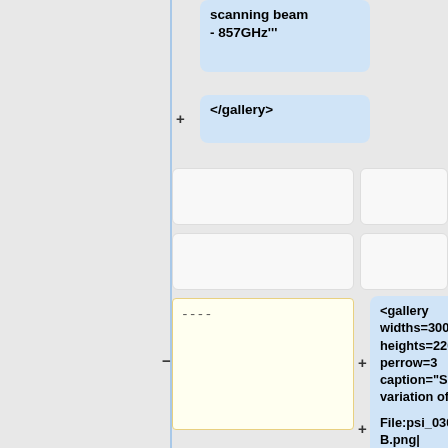scanning beam - 857GHz"'
</gallery>
<gallery widths=300px heights=220px perrow=3 caption="Sky variation of effective beams <math>\psi</math> angle of the best-fit Gaussian">
----
File:psi_030_GB.png| '"<math>\psi</m